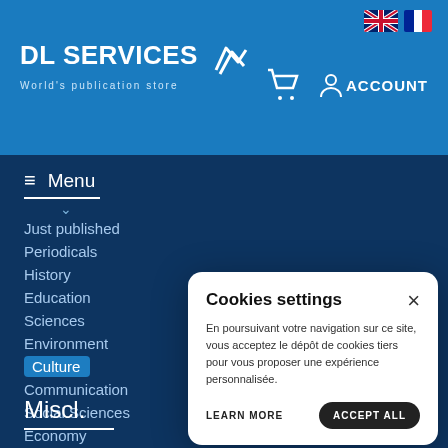DL SERVICES — World's publication store
Menu
Just published
Periodicals
History
Education
Sciences
Environment
Culture
Communication
Social Sciences
Economy
Literature
Miscl.
Cookies settings
En poursuivant votre navigation sur ce site, vous acceptez le dépôt de cookies tiers pour vous proposer une expérience personnalisée.
LEARN MORE  ACCEPT ALL